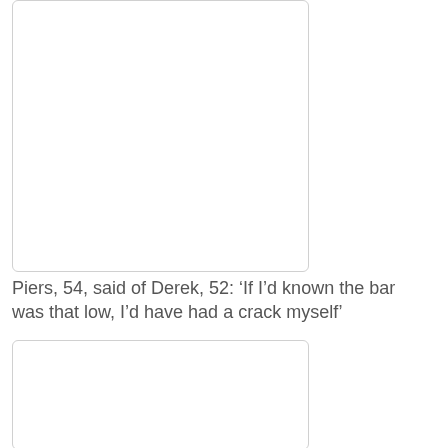[Figure (photo): Blank white image placeholder with rounded border, top portion of page]
Piers, 54, said of Derek, 52: ‘If I’d known the bar was that low, I’d have had a crack myself’
[Figure (photo): Blank white image placeholder with rounded border, bottom portion of page]